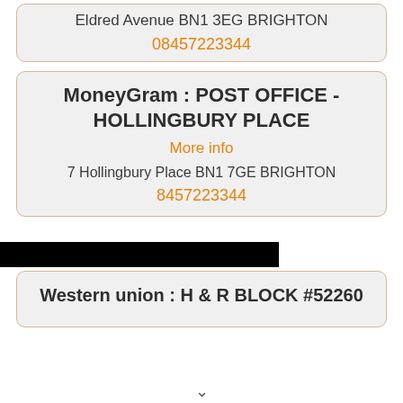Eldred Avenue BN1 3EG BRIGHTON
08457223344
MoneyGram : POST OFFICE - HOLLINGBURY PLACE
More info
7 Hollingbury Place BN1 7GE BRIGHTON
8457223344
Western union : H & R BLOCK #52260